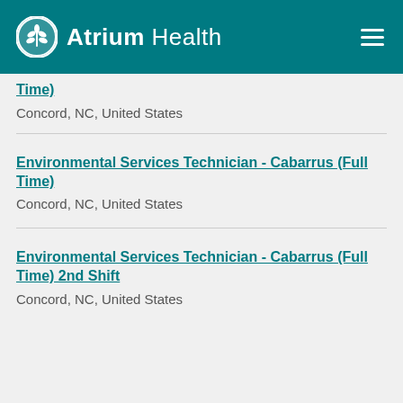Atrium Health
Time)
Concord, NC, United States
Environmental Services Technician - Cabarrus (Full Time)
Concord, NC, United States
Environmental Services Technician - Cabarrus (Full Time) 2nd Shift
Concord, NC, United States